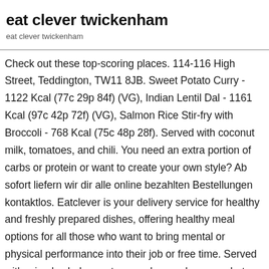eat clever twickenham
eat clever twickenham
Check out these top-scoring places. 114-116 High Street, Teddington, TW11 8JB. Sweet Potato Curry - 1122 Kcal (77c 29p 84f) (VG), Indian Lentil Dal - 1161 Kcal (97c 42p 72f) (VG), Salmon Rice Stir-fry with Broccoli - 768 Kcal (75c 48p 28f). Served with coconut milk, tomatoes, and chili. You need an extra portion of carbs or protein or want to create your own style? Ab sofort liefern wir dir alle online bezahlten Bestellungen kontaktlos. Eatclever is your delivery service for healthy and freshly prepared dishes, offering healthy meal options for all those who want to bring mental or physical performance into their job or free time. Served with mixed salad, carrot, cucumber, and mango chutney. Retro Bistrot. Served with coconut milk and coconut flakes. Served with lentils, spices, oil, and lemon juice. Our lightweights such as crisp salads or warm soups